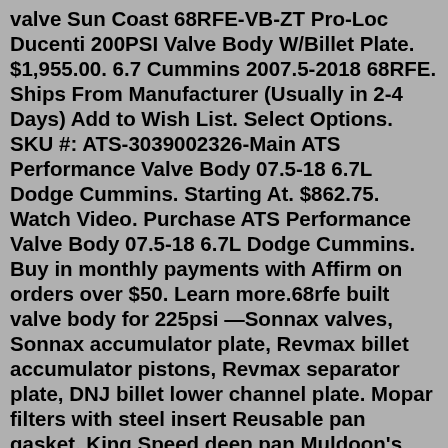valve Sun Coast 68RFE-VB-ZT Pro-Loc Ducenti 200PSI Valve Body W/Billet Plate. $1,955.00. 6.7 Cummins 2007.5-2018 68RFE. Ships From Manufacturer (Usually in 2-4 Days) Add to Wish List. Select Options. SKU #: ATS-3039002326-Main ATS Performance Valve Body 07.5-18 6.7L Dodge Cummins. Starting At. $862.75. Watch Video. Purchase ATS Performance Valve Body 07.5-18 6.7L Dodge Cummins. Buy in monthly payments with Affirm on orders over $50. Learn more.68rfe built valve body for 225psi —Sonnax valves, Sonnax accumulator plate, Revmax billet accumulator pistons, Revmax separator plate, DNJ billet lower channel plate. Mopar filters with steel insert Reusable pan gasket. King Speed deep pan Muldoon's Diesel 68RFE Performance Valve Body. $ 1,450.00 – $ 1,835.00. Model Year. Choose an option 2010-2018. VB Core Charge. Choose an option I will send my core in ahead of time I will send my core in after the purchase (+ $300.00) VB Acknowledgement *. Choose